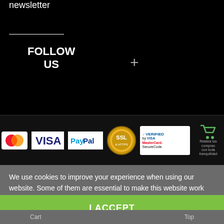newsletter
FOLLOW US
[Figure (logo): Payment logos: MasterCard, VISA, PayPal, SSL certificate badge, Verified by VISA MasterCard SecureCode badge, shopping cart icon]
We use cookies to improve your experience when using our website. Some of them are essential to make this website work properly. You can turn off cookies in Customise Cookies and find out more in Cookies Policy.   Cookies Policy   Customize Cookies
I ACCEPT
Cart    Top